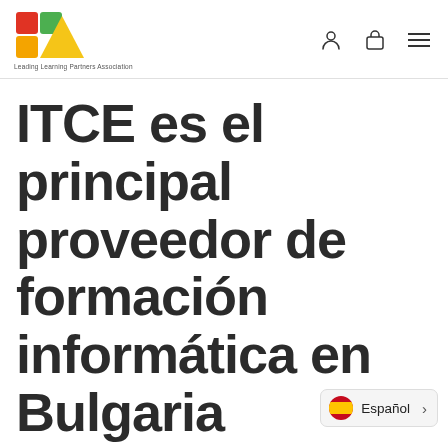[Figure (logo): LLPA - Leading Learning Partners Association logo with colorful geometric shapes (red, green, yellow squares and triangle)]
ITCE es el principal proveedor de formación informática en Bulgaria
Español >